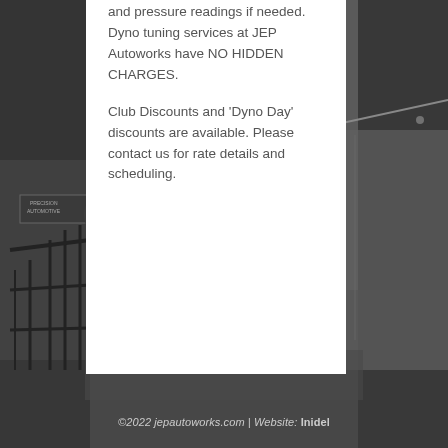[Figure (photo): Black and white photograph of an automotive workshop/garage exterior with gates, signage reading 'Precision Automotive', palm tree, building with corrugated walls, parking area.]
and pressure readings if needed. Dyno tuning services at JEP Autoworks have NO HIDDEN CHARGES.

Club Discounts and 'Dyno Day' discounts are available. Please contact us for rate details and scheduling.
©2022 jepautoworks.com | Website: Inidel